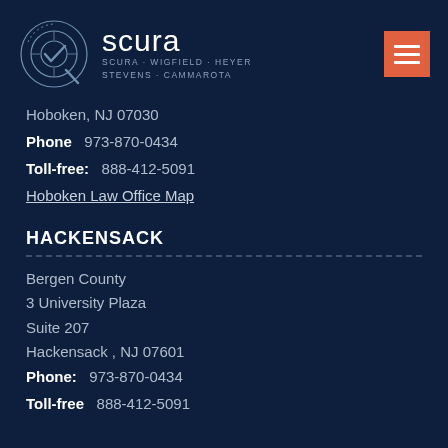[Figure (logo): Scura law firm logo with circular emblem and firm name: scura / SCURA · WIGFIELD · HEYER / STEVENS · CAMMAROTA]
Hoboken, NJ 07030
Phone  973-870-0434
Toll-free:  888-412-5091
Hoboken Law Office Map
HACKENSACK
Bergen County
3 University Plaza
Suite 207
Hackensack , NJ 07601
Phone:  973-870-0434
Toll-free  888-412-5091